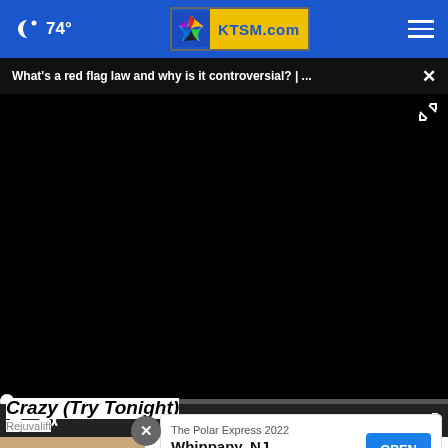🌙 74° | KTSM.com
What's a red flag law and why is it controversial? | ...
[Figure (screenshot): Black video player area with playback controls showing 00:00]
Crazy (Try Tonight)
Rejuvalift
The Polar Express 2022
Whippany, NJ
OPEN